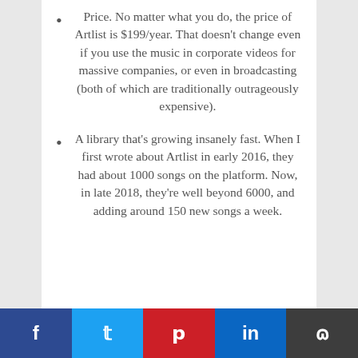Price. No matter what you do, the price of Artlist is $199/year. That doesn't change even if you use the music in corporate videos for massive companies, or even in broadcasting (both of which are traditionally outrageously expensive).
A library that's growing insanely fast. When I first wrote about Artlist in early 2016, they had about 1000 songs on the platform. Now, in late 2018, they're well beyond 6000, and adding around 150 new songs a week.